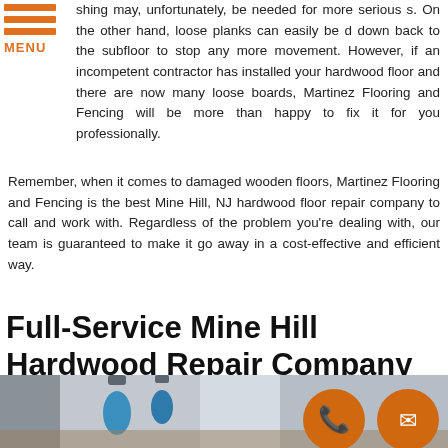[Figure (logo): Orange hamburger menu icon with three horizontal bars and MENU label]
shing may, unfortunately, be needed for more serious s. On the other hand, loose planks can easily be d down back to the subfloor to stop any more movement. However, if an incompetent contractor has installed your hardwood floor and there are now many loose boards, Martinez Flooring and Fencing will be more than happy to fix it for you professionally.
Remember, when it comes to damaged wooden floors, Martinez Flooring and Fencing is the best Mine Hill, NJ hardwood floor repair company to call and work with. Regardless of the problem you're dealing with, our team is guaranteed to make it go away in a cost-effective and efficient way.
Full-Service Mine Hill Hardwood Repair Company
[Figure (photo): Photo of a room interior with hardwood floor and pendant lights, with orange phone and email icon buttons overlaid]